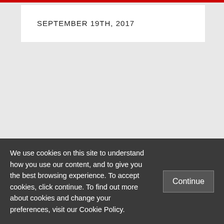SEPTEMBER 19TH, 2017
[Figure (other): Social media icons: Twitter bird, Facebook f, RSS feed icon]
[Figure (logo): LSE - The London School logo with red box containing LSE letters]
We use cookies on this site to understand how you use our content, and to give you the best browsing experience. To accept cookies, click continue. To find out more about cookies and change your preferences, visit our Cookie Policy.